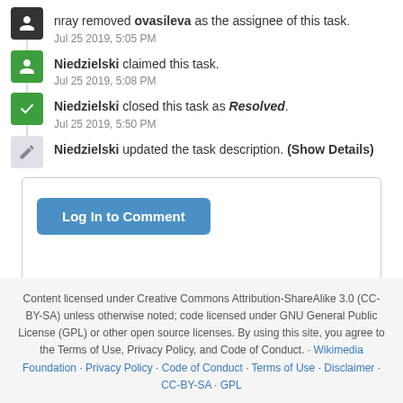nray removed ovasileva as the assignee of this task. Jul 25 2019, 5:05 PM
Niedzielski claimed this task. Jul 25 2019, 5:08 PM
Niedzielski closed this task as Resolved. Jul 25 2019, 5:50 PM
Niedzielski updated the task description. (Show Details)
Log In to Comment
Content licensed under Creative Commons Attribution-ShareAlike 3.0 (CC-BY-SA) unless otherwise noted; code licensed under GNU General Public License (GPL) or other open source licenses. By using this site, you agree to the Terms of Use, Privacy Policy, and Code of Conduct. · Wikimedia Foundation · Privacy Policy · Code of Conduct · Terms of Use · Disclaimer · CC-BY-SA · GPL